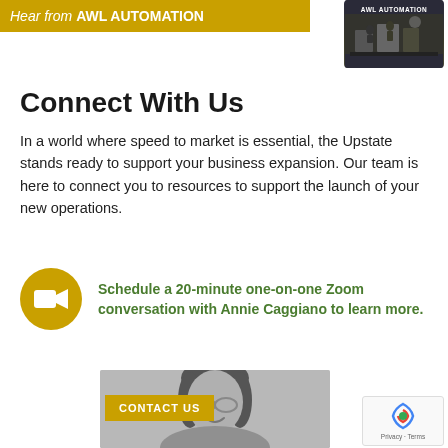Hear from AWL AUTOMATION
[Figure (screenshot): Video thumbnail showing AWL AUTOMATION label over a dark industrial image]
Connect With Us
In a world where speed to market is essential, the Upstate stands ready to support your business expansion. Our team is here to connect you to resources to support the launch of your new operations.
Schedule a 20-minute one-on-one Zoom conversation with Annie Caggiano to learn more.
[Figure (photo): Headshot of Annie Caggiano, a woman with glasses and brown hair, in black and white. Overlaid with 'CONTACT US' button in gold.]
[Figure (other): reCAPTCHA widget with Privacy - Terms text]